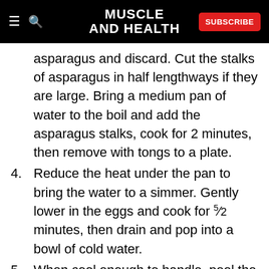MUSCLE AND HEALTH
asparagus and discard. Cut the stalks of asparagus in half lengthways if they are large. Bring a medium pan of water to the boil and add the asparagus stalks, cook for 2 minutes, then remove with tongs to a plate.
4. Reduce the heat under the pan to bring the water to a simmer. Gently lower in the eggs and cook for 5½ minutes, then drain and pop into a bowl of cold water.
5. When cool enough to handle, peel the soft-boiled eggs and cut in half.